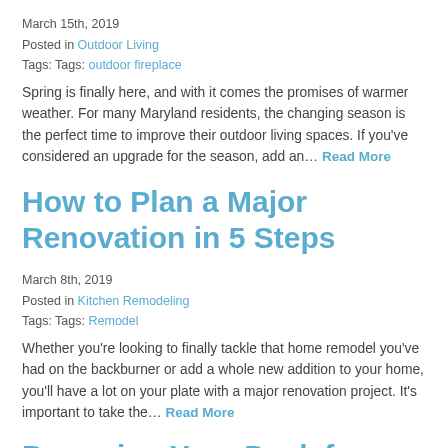March 15th, 2019
Posted in Outdoor Living
Tags: Tags: outdoor fireplace
Spring is finally here, and with it comes the promises of warmer weather. For many Maryland residents, the changing season is the perfect time to improve their outdoor living spaces. If you've considered an upgrade for the season, add an… Read More
How to Plan a Major Renovation in 5 Steps
March 8th, 2019
Posted in Kitchen Remodeling
Tags: Tags: Remodel
Whether you're looking to finally tackle that home remodel you've had on the backburner or add a whole new addition to your home, you'll have a lot on your plate with a major renovation project. It's important to take the… Read More
Preparing Your Deck for